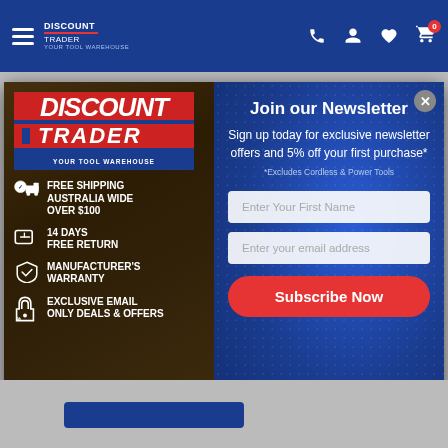Discount Trader - Your Tool Warehouse navigation bar with hamburger menu, phone, account, wishlist, and cart icons
[Figure (screenshot): Modal popup over e-commerce page. Left panel shows Discount Trader logo with features: Free Shipping Australia Wide Over $100, 14 Days Free Return, Manufacturer's Warranty, Exclusive Email Only Deals & Offers. Right panel shows newsletter signup form.]
Join our Newsletter
Sign up today for exclusive newsletter offers and 5% off your first purchase*
*Excludes Cordless & Power Tools
FREE SHIPPING AUSTRALIA WIDE OVER $100
14 DAYS FREE RETURN
MANUFACTURER'S WARRANTY
EXCLUSIVE EMAIL ONLY DEALS & OFFERS